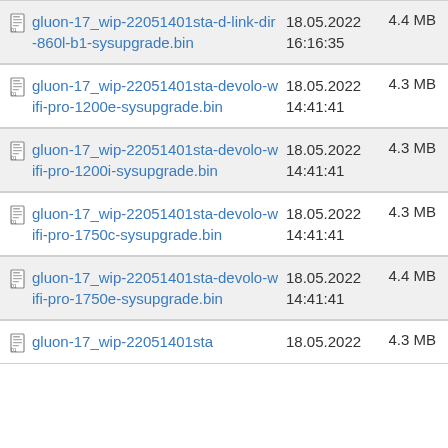gluon-17_wip-22051401sta-d-link-dir-860l-b1-sysupgrade.bin	18.05.2022 16:16:35	4.4 MB
gluon-17_wip-22051401sta-devolo-wifi-pro-1200e-sysupgrade.bin	18.05.2022 14:41:41	4.3 MB
gluon-17_wip-22051401sta-devolo-wifi-pro-1200i-sysupgrade.bin	18.05.2022 14:41:41	4.3 MB
gluon-17_wip-22051401sta-devolo-wifi-pro-1750c-sysupgrade.bin	18.05.2022 14:41:41	4.3 MB
gluon-17_wip-22051401sta-devolo-wifi-pro-1750e-sysupgrade.bin	18.05.2022 14:41:41	4.4 MB
gluon-17_wip-22051401sta	18.05.2022	4.3 MB